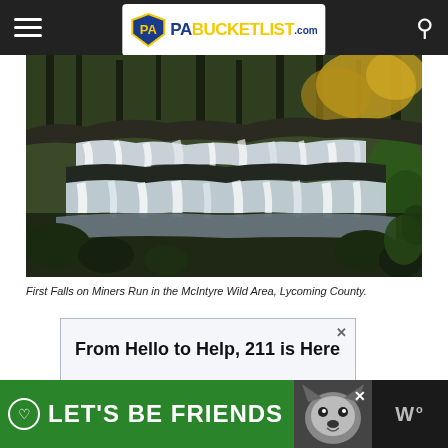PA Bucket List — navigation header with hamburger menu and search icon
[Figure (photo): Waterfall photo: First Falls on Miners Run in the McIntyre Wild Area, Lycoming County. Multi-tiered waterfall with silky white water flowing over dark rocks, surrounded by forest with autumn foliage on the right.]
First Falls on Miners Run in the McIntyre Wild Area, Lycoming County.
[Figure (other): Advertisement banner reading 'From Hello to Help, 211 is Here' with close button]
[Figure (other): Bottom banner advertisement: 'LET'S BE FRIENDS' in white text on green background with a husky dog photo and weather widget showing 'W°']